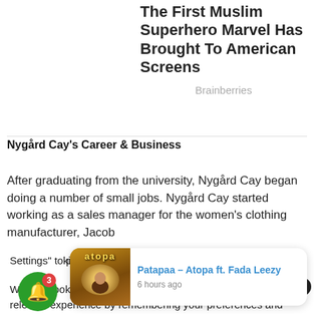The First Muslim Superhero Marvel Has Brought To American Screens
Brainberries
Nygård Cay's Career & Business
After graduating from the university, Nygård Cay began doing a number of small jobs. Nygård Cay started working as a sales manager for the women's clothing manufacturer, Jacob
We use cookies on our website to give you the most relevant experience by remembering your preferences and repeat visits. By clicking "ACCEPT ALL", you consent to the use of ALL the cookies. However, you may visit "Cookie Settings" to pro
kie Settings
[Figure (screenshot): Music notification widget showing 'Patapaa – Atopa ft. Fada Leezy' posted 6 hours ago, with album art thumbnail]